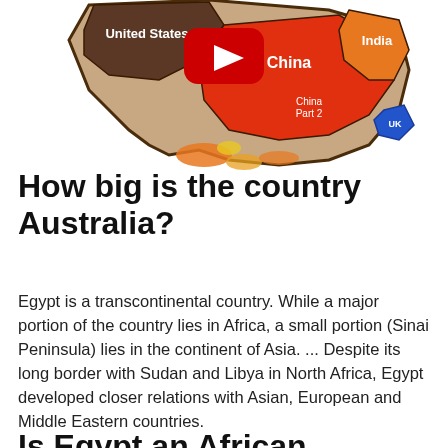[Figure (map): A map overlaying country outlines onto a geographic region (Africa shape), showing relative sizes of United States, China, India, China Part 2, and UK, with a YouTube play button overlay.]
How big is the country Australia?
Egypt is a transcontinental country. While a major portion of the country lies in Africa, a small portion (Sinai Peninsula) lies in the continent of Asia. ... Despite its long border with Sudan and Libya in North Africa, Egypt developed closer relations with Asian, European and Middle Eastern countries.
Is Egypt an African country?